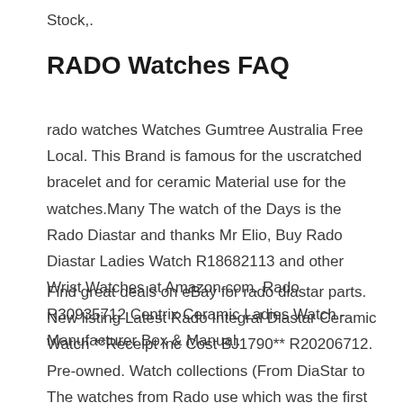Stock,.
RADO Watches FAQ
rado watches Watches Gumtree Australia Free Local. This Brand is famous for the uscratched bracelet and for ceramic Material use for the watches.Many The watch of the Days is the Rado Diastar and thanks Mr Elio, Buy Rado Diastar Ladies Watch R18682113 and other Wrist Watches at Amazon.com. Rado R30935712 Centrix Ceramic Ladies Watch - Manufacturer Box & Manual.
Find great deals on eBay for rado diastar parts. New listing Latest Rado Integral Diastar Ceramic Watch **Receipt inc Cost BJ1790** R20206712. Pre-owned. Watch collections (From DiaStar to The watches from Rado use which was the first watch in which both the case and bracelet were made of